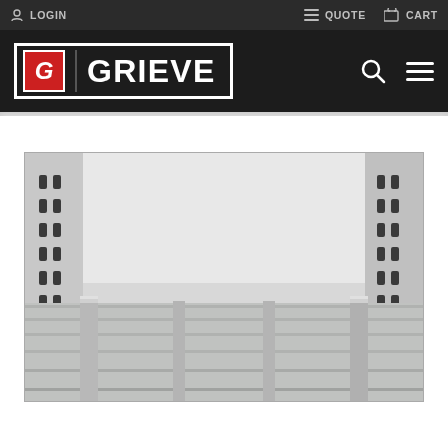LOGIN   QUOTE   CART
[Figure (logo): Grieve Corporation logo - red G in box with white border, GRIEVE text in white on black background]
[Figure (photo): Interior of a Grieve industrial oven showing perforated side walls and slatted floor/shelf with metallic finish]